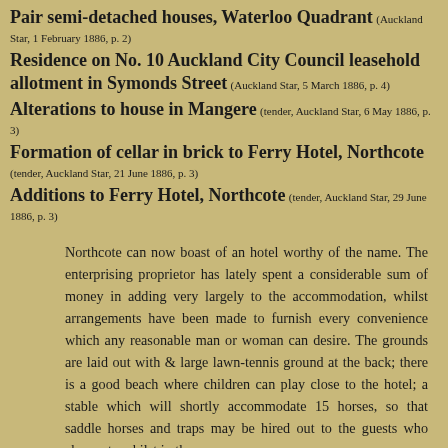Pair semi-detached houses, Waterloo Quadrant (Auckland Star, 1 February 1886, p. 2)
Residence on No. 10 Auckland City Council leasehold allotment in Symonds Street (Auckland Star, 5 March 1886, p. 4)
Alterations to house in Mangere (tender, Auckland Star, 6 May 1886, p. 3)
Formation of cellar in brick to Ferry Hotel, Northcote (tender, Auckland Star, 21 June 1886, p. 3)
Additions to Ferry Hotel, Northcote (tender, Auckland Star, 29 June 1886, p. 3)
Northcote can now boast of an hotel worthy of the name. The enterprising proprietor has lately spent a considerable sum of money in adding very largely to the accommodation, whilst arrangements have been made to furnish every convenience which any reasonable man or woman can desire. The grounds are laid out with & large lawn-tennis ground at the back; there is a good beach where children can play close to the hotel; a stable which will shortly accommodate 15 horses, so that saddle horses and traps may be hired out to the guests who choose to whilst in the